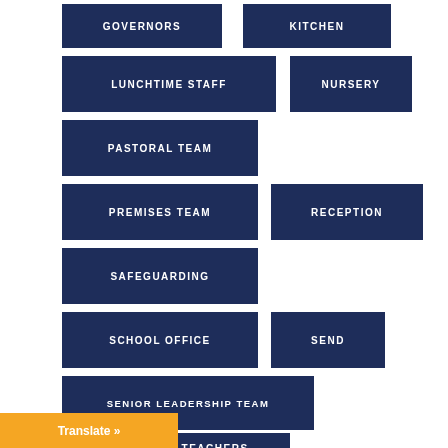[Figure (organizational-chart): A partial organizational chart showing school departments/teams as dark navy blue rectangular buttons arranged in a grid layout. Items include: GOVERNORS, KITCHEN, LUNCHTIME STAFF, NURSERY, PASTORAL TEAM, PREMISES TEAM, RECEPTION, SAFEGUARDING, SCHOOL OFFICE, SEND, SENIOR LEADERSHIP TEAM, SPECIALIST TEACHERS. An orange 'Translate »' button appears at the bottom left.]